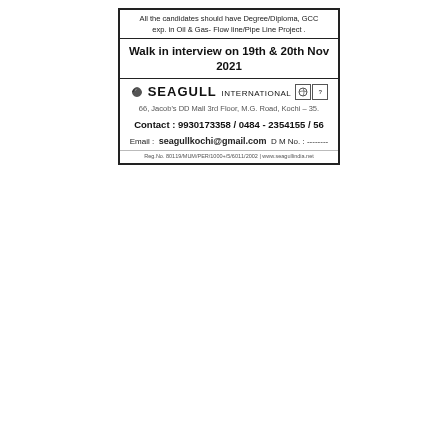All the candidates should have Degree/Diploma, GCC exp. in Oil & Gas- Flow line/Pipe Line Project .
Walk in interview on 19th & 20th Nov 2021
[Figure (logo): Seagull International company logo with stylized bird wing and globe icon]
66, Jacob's DD Mall 3rd Floor, M.G. Road, Kochi – 35.
Contact : 9930173358 / 0484 - 2354155 / 56
Email : seagullkochi@gmail.com   D M No. : --------
Reg.No. 80119/MUM/PER/1000+/5/6011/2002 | www.seagullindia.net